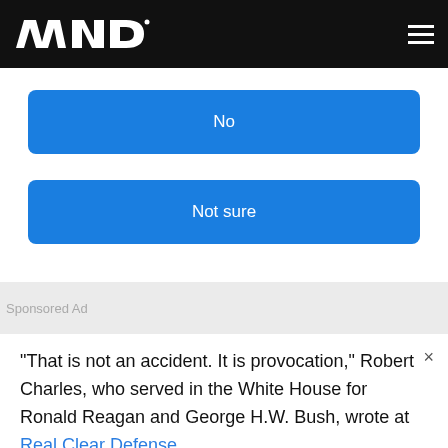WND
No
Not sure
Sponsored Ad
"That is not an accident. It is provocation," Robert Charles, who served in the White House for Ronald Reagan and George H.W. Bush, wrote at Real Clear Defense.